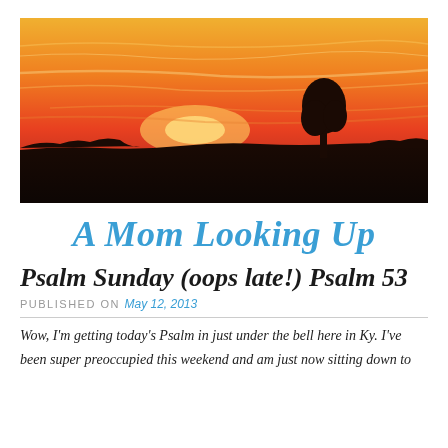[Figure (photo): A sunset photo showing an orange and red sky with a silhouette of a tree and flat landscape on the horizon.]
A Mom Looking Up
Psalm Sunday (oops late!) Psalm 53
PUBLISHED ON May 12, 2013
Wow, I'm getting today's Psalm in just under the bell here in Ky. I've been super preoccupied this weekend and am just now sitting down to